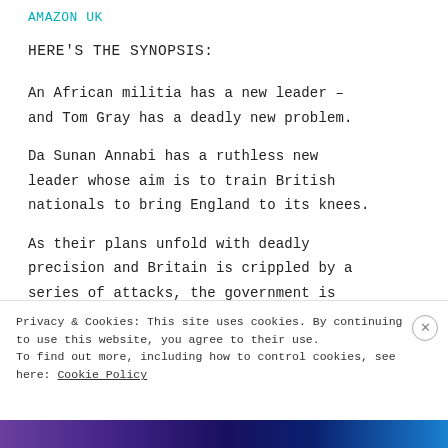AMAZON UK
HERE'S THE SYNOPSIS:
An African militia has a new leader – and Tom Gray has a deadly new problem.
Da Sunan Annabi has a ruthless new leader whose aim is to train British nationals to bring England to its knees.
As their plans unfold with deadly precision and Britain is crippled by a series of attacks, the government is forced to deploy its new secret weapon:
Privacy & Cookies: This site uses cookies. By continuing to use this website, you agree to their use. To find out more, including how to control cookies, see here: Cookie Policy
Close and accept